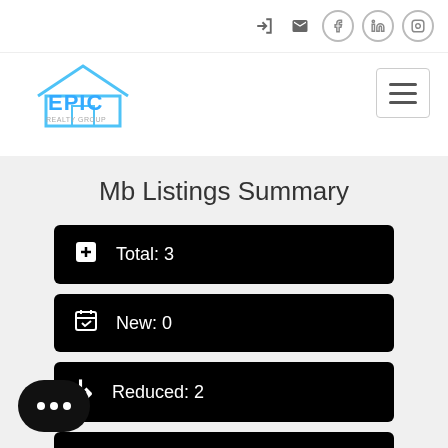[Figure (logo): EPIC real estate logo with green house outline and blue text]
Mb Listings Summary
Total: 3
New: 0
Reduced: 2
Open House: 0